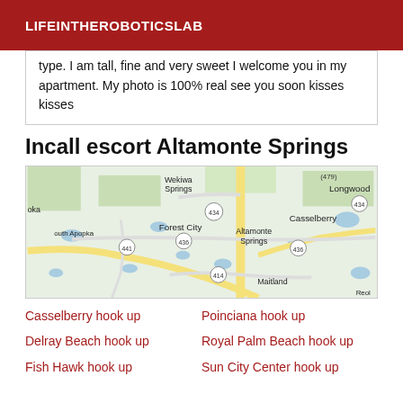LIFEINTHEROBOTICS LAB
type. I am tall, fine and very sweet I welcome you in my apartment. My photo is 100% real see you soon kisses kisses
Incall escort Altamonte Springs
[Figure (map): Map showing Altamonte Springs area in Florida, including Wekiwa Springs, Longwood, Casselberry, Forest City, South Apopka, Maitland, with roads 434, 436, 441, 414 marked.]
Casselberry hook up
Poinciana hook up
Delray Beach hook up
Royal Palm Beach hook up
Fish Hawk hook up
Sun City Center hook up